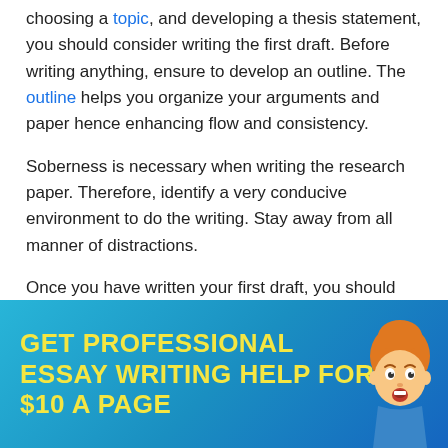choosing a topic, and developing a thesis statement, you should consider writing the first draft. Before writing anything, ensure to develop an outline. The outline helps you organize your arguments and paper hence enhancing flow and consistency.
Soberness is necessary when writing the research paper. Therefore, identify a very conducive environment to do the writing. Stay away from all manner of distractions.
Once you have written your first draft, you should consider re-reading it through alongside your predefined outline. Examine how argumentative and viable the research paper is.
[Figure (infographic): Blue gradient banner advertisement with yellow bold text reading 'GET PROFESSIONAL ESSAY WRITING HELP FOR $10 A PAGE' and a cartoon character illustration on the right side]